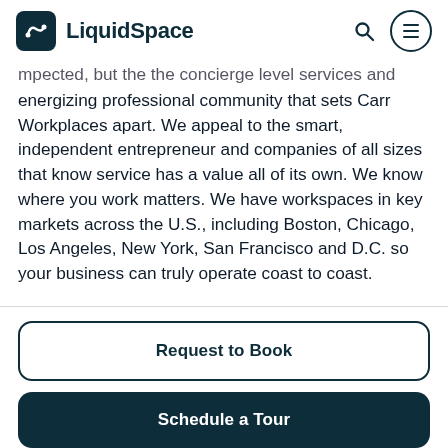LiquidSpace
…mpected, but the the concierge level services and energizing professional community that sets Carr Workplaces apart. We appeal to the smart, independent entrepreneur and companies of all sizes that know service has a value all of its own. We know where you work matters. We have workspaces in key markets across the U.S., including Boston, Chicago, Los Angeles, New York, San Francisco and D.C. so your business can truly operate coast to coast.
Request to Book
Schedule a Tour